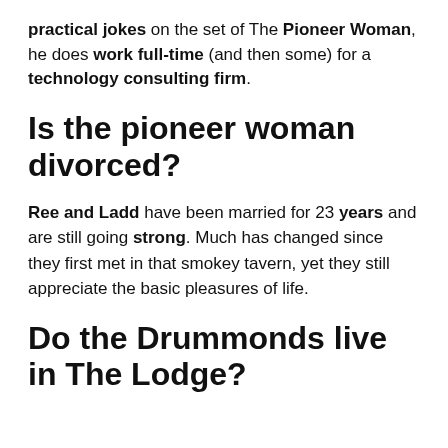practical jokes on the set of The Pioneer Woman, he does work full-time (and then some) for a technology consulting firm.
Is the pioneer woman divorced?
Ree and Ladd have been married for 23 years and are still going strong. Much has changed since they first met in that smokey tavern, yet they still appreciate the basic pleasures of life.
Do the Drummonds live in The Lodge?